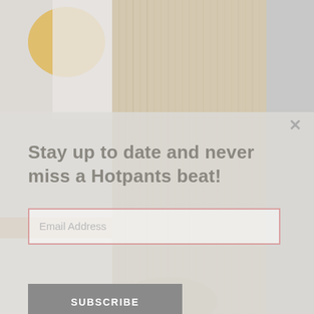[Figure (photo): Background photo of a person wearing a knitted beige cardigan over grey clothing, with a blurred yellow object in the upper left corner. Light, airy indoor setting.]
Stay up to date and never miss a Hotpants beat!
Email Address
SUBSCRIBE